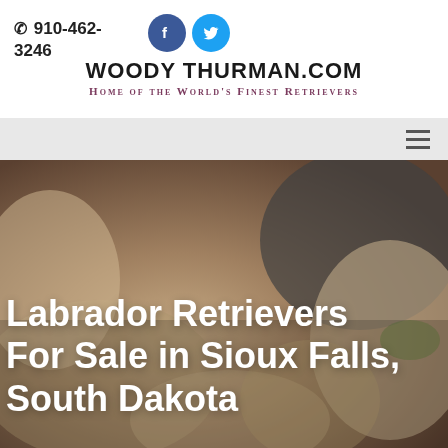✆ 910-462-3246
[Figure (logo): Facebook and Twitter social media icons (circular blue icons)]
WOODY THURMAN.COM
Home of the World's Finest Retrievers
[Figure (other): Hamburger menu icon (three horizontal lines) on a light gray navigation bar]
[Figure (photo): Hero image of Labrador Retriever puppies, warm brown tones, close-up group of puppies outdoors]
Labrador Retrievers For Sale in Sioux Falls, South Dakota